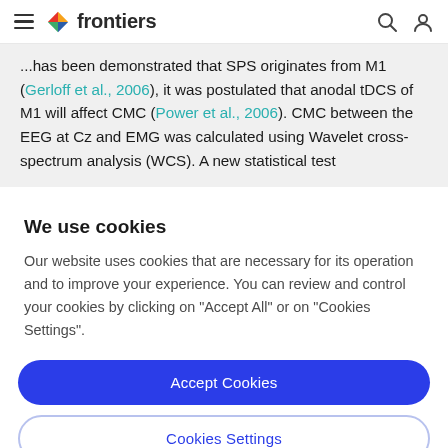frontiers
...has been demonstrated that SPS originates from M1 (Gerloff et al., 2006), it was postulated that anodal tDCS of M1 will affect CMC (Power et al., 2006). CMC between the EEG at Cz and EMG was calculated using Wavelet cross-spectrum analysis (WCS). A new statistical test
We use cookies
Our website uses cookies that are necessary for its operation and to improve your experience. You can review and control your cookies by clicking on "Accept All" or on "Cookies Settings".
Accept Cookies
Cookies Settings